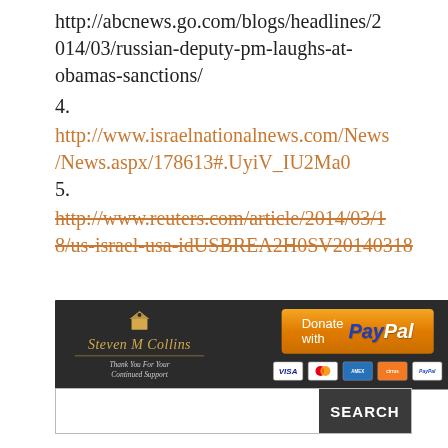http://abcnews.go.com/blogs/headlines/2014/03/russian-deputy-pm-laughs-at-obamas-sanctions/
4.
http://www.israelnationalnews.com/News/News.aspx/178613#.UyiV_IU2Ma0
5.
http://www.reuters.com/article/2014/03/18/us-israel-usa-idUSBREA2H0SV20140318
[Figure (other): Steven M Collins donation banner with PayPal button and credit card icons on dark background]
SEARCH